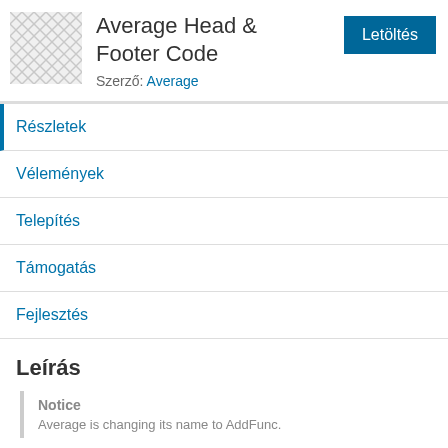[Figure (illustration): Plugin icon with grey crosshatch/diamond pattern on white background]
Average Head & Footer Code
Szerző: Average
Részletek
Vélemények
Telepítés
Támogatás
Fejlesztés
Leírás
Notice
Average is changing its name to AddFunc.